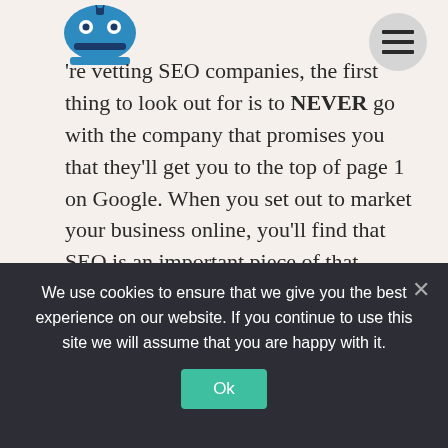[Figure (logo): Blue robot/android logo icon on top left]
[Figure (other): Gray circle with hamburger menu icon (three horizontal lines) on top right]
re vetting SEO companies, the first thing to look out for is to NEVER go with the company that promises you that they'll get you to the top of page 1 on Google. When you set out to market your business online, you'll find that SEO is an important piece of that process. SEO [...]
READ MORE
We use cookies to ensure that we give you the best experience on our website. If you continue to use this site we will assume that you are happy with it.
Ok